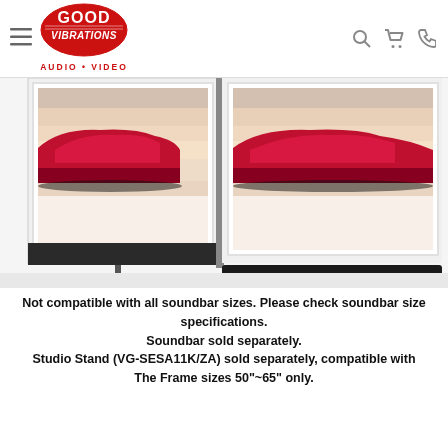Good Vibrations Audio Video
[Figure (photo): Product comparison photo showing two Samsung The Frame TVs side by side with a soundbar below, displaying abstract artwork of a red car]
Not compatible with all soundbar sizes. Please check soundbar size specifications.
Soundbar sold separately.
Studio Stand (VG-SESA11K/ZA) sold separately, compatible with The Frame sizes 50"~65" only.